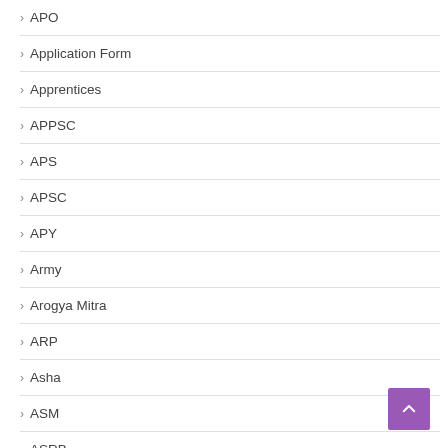APO
Application Form
Apprentices
APPSC
APS
APSC
APY
Army
Arogya Mitra
ARP
Asha
ASM
ASRB
Assam
Assistant